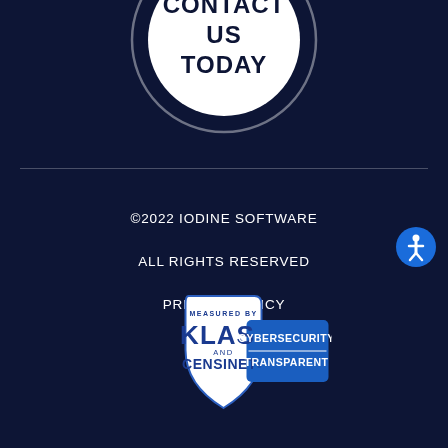[Figure (illustration): Circular button with dark navy background and white circle containing bold dark text reading CONTACT US TODAY]
©2022 IODINE SOFTWARE
ALL RIGHTS RESERVED
PRIVACY POLICY
[Figure (logo): KLAS and CENSINET badge: shield shape with MEASURED BY KLAS AND CENSINET text, and blue rectangle reading CYBERSECURITY TRANSPARENT]
[Figure (illustration): Blue circular accessibility icon with white person figure]